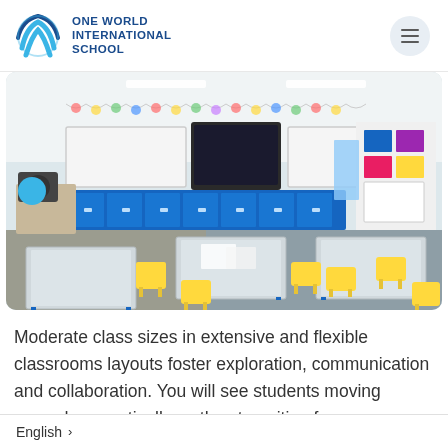ONE WORLD INTERNATIONAL SCHOOL
[Figure (photo): Bright classroom with yellow chairs, white desks arranged in groups, a large whiteboard and TV screen at the front, blue storage cabinets along the back wall, decorative bunting along the top, and student work displayed on the right wall.]
Moderate class sizes in extensive and flexible classrooms layouts foster exploration, communication and collaboration. You will see students moving around energetically as they transition from one activity to the next. They may with a lively group discussion, then